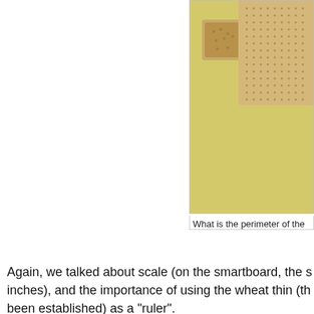[Figure (photo): Photo of a wheat thin cracker next to a large cracker/matzo on a yellow background, partially cropped on the right side of the page.]
What is the perimeter of the
Again, we talked about scale (on the smartboard, the s inches), and the importance of using the wheat thin (th been established) as a "ruler".
[Figure (photo): Student handwritten worksheet showing a diagram with measurements including 5 in., 6 in., 24+.38 in., with a rectangle drawn and labeled 'Mateo', 'Answer', and partial math work showing B+B+... on lined paper.]